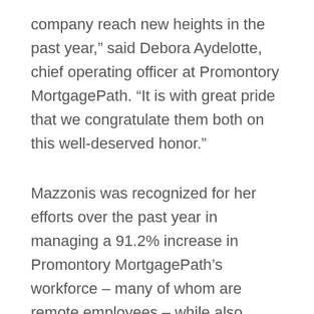company reach new heights in the past year,” said Debora Aydelotte, chief operating officer at Promontory MortgagePath. “It is with great pride that we congratulate them both on this well-deserved honor.”
Mazzonis was recognized for her efforts over the past year in managing a 91.2% increase in Promontory MortgagePath’s workforce – many of whom are remote employees – while also maintaining all-time-high employee satisfaction levels and a less than 1% employee turnover rate during the pandemic. With Mazzonis’ help, Promontory MortgagePath has also prioritized